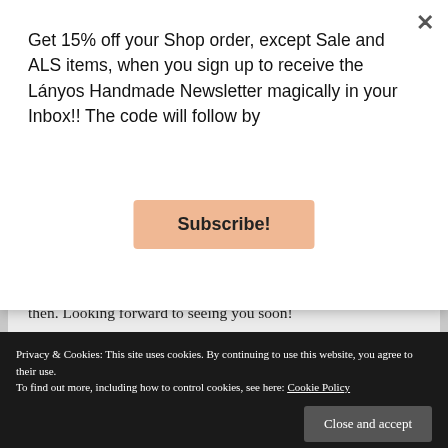Get 15% off your Shop order, except Sale and ALS items, when you sign up to receive the Lányos Handmade Newsletter magically in your Inbox!! The code will follow by
Subscribe!
then. Looking forward to seeing you soon!
★ Loading...
Privacy & Cookies: This site uses cookies. By continuing to use this website, you agree to their use. To find out more, including how to control cookies, see here: Cookie Policy
Close and accept